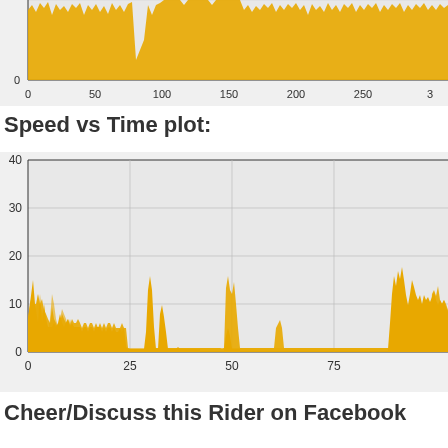[Figure (continuous-plot): Top partial chart showing a dense golden/yellow area plot (likely power or cadence vs time), x-axis labeled 0, 50, 100, 150, 200, 250, 3..., y-axis shows 0 at bottom, data is a dense continuous waveform clipped at top of view.]
Speed vs Time plot:
[Figure (continuous-plot): Speed vs Time area chart with golden/yellow fill. Y-axis: 0, 10, 20, 30, 40. X-axis: 0, 25, 50, 75. The signal rises from near 0 with spikes up to ~15 early, flat near 0 from ~15-25, spikes to ~16 around x=25-30, flat near 0 from ~35-48, small bumps ~5 around x=50-55, then flat near 0 until ~75, then large spikes up to ~17-18 around x=80-90, chart is cut off on right.]
Cheer/Discuss this Rider on Facebook